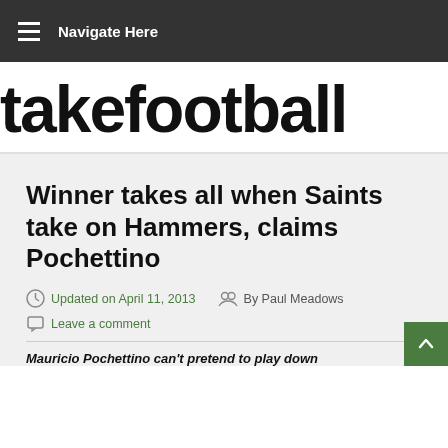Navigate Here
takefootball
Winner takes all when Saints take on Hammers, claims Pochettino
Updated on April 11, 2013  By Paul Meadows
Leave a comment
Mauricio Pochettino can't pretend to play down